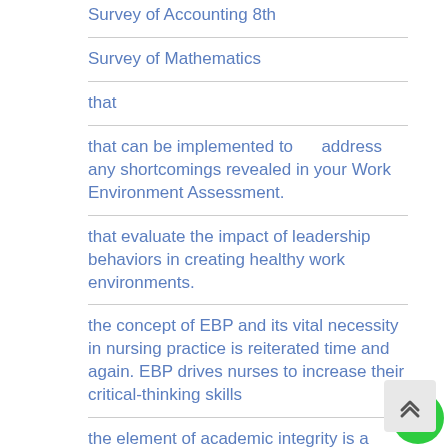Survey of Accounting 8th
Survey of Mathematics
that
that can be implemented to      address any shortcomings revealed in your Work Environment Assessment.
that evaluate the impact of leadership behaviors in creating healthy work environments.
the concept of EBP and its vital necessity in nursing practice is reiterated time and again. EBP drives nurses to increase their critical-thinking skills
the element of academic integrity is a stepping stone to becoming an effective nurse leader. Hallmarks of